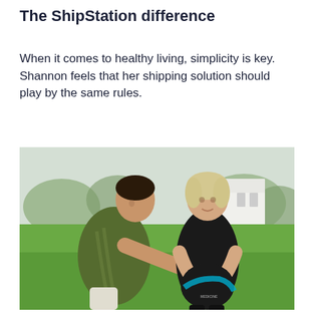The ShipStation difference
When it comes to healthy living, simplicity is key. Shannon feels that her shipping solution should play by the same rules.
[Figure (photo): Two people exercising outdoors on a grass field. A man in an olive green t-shirt leans forward passing a medicine ball to a woman in a black t-shirt and black pants. They are in a park-like setting with trees and a white building visible in the background.]